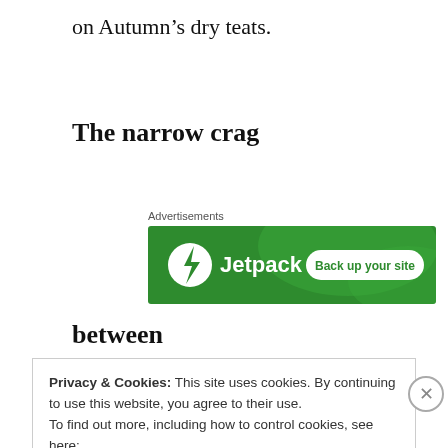on Autumn’s dry teats.
The narrow crag
Advertisements
[Figure (other): Jetpack advertisement banner with green background. Left side shows Jetpack logo (lightning bolt in circle) and text 'Jetpack'. Right side shows white pill button with green text 'Back up your site'.]
between
Privacy & Cookies: This site uses cookies. By continuing to use this website, you agree to their use.
To find out more, including how to control cookies, see here:
Cookie Policy
Close and accept